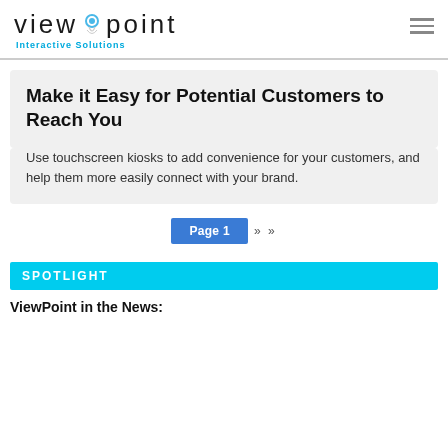view point Interactive Solutions
Make it Easy for Potential Customers to Reach You
Use touchscreen kiosks to add convenience for your customers, and help them more easily connect with your brand.
Page 1 ›› »
SPOTLIGHT
ViewPoint in the News: